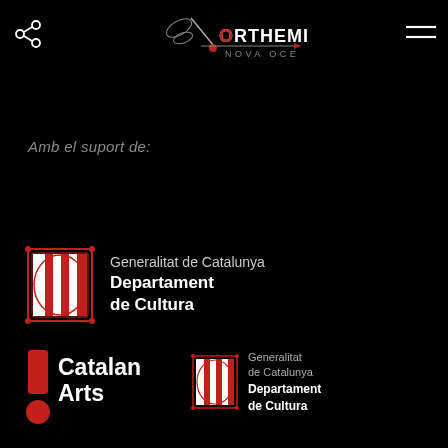[Figure (logo): Orthemis Nova Oce logo — stylized dragonfly silhouette in grey with red dot at head, text ORTHEMIS in white/red caps, NOVA OCE below in spaced grey caps]
[Figure (logo): Share icon — left-pointing arrow with three circles]
[Figure (logo): Menu icon — two horizontal lines (hamburger)]
Amb el suport de:
[Figure (logo): Generalitat de Catalunya coat of arms logo (four red vertical stripes on white in ornate frame) with text Generalitat de Catalunya / Departament de Cultura]
[Figure (logo): Catalan Arts logo — red exclamation mark shape (rectangle + circle) with white text Catalan Arts]
[Figure (logo): Generalitat de Catalunya coat of arms (smaller version) with text Generalitat de Catalunya / Departament de Cultura in grey/white]